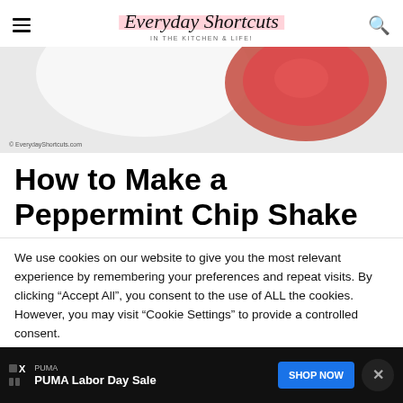Everyday Shortcuts — IN THE KITCHEN & LIFE!
[Figure (photo): Hero image showing white bowl and red sauce/liquid on light background with watermark © EverydayShortcuts.com]
How to Make a Peppermint Chip Shake
We use cookies on our website to give you the most relevant experience by remembering your preferences and repeat visits. By clicking "Accept All", you consent to the use of ALL the cookies. However, you may visit "Cookie Settings" to provide a controlled consent.
[Figure (screenshot): Cookie consent buttons: Cookie Settings (grey) and Accept All (green)]
[Figure (screenshot): Ad banner: PUMA Labor Day Sale with SHOP NOW button in blue, close button, and ad attribution badges]